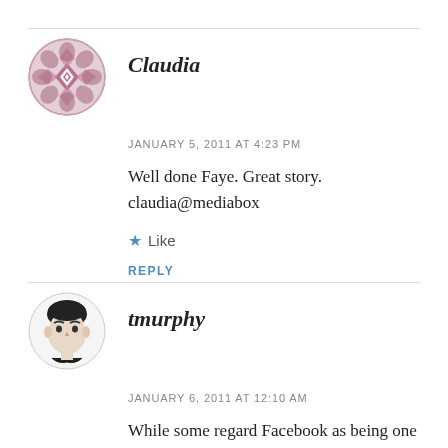Claudia
JANUARY 5, 2011 AT 4:23 PM
Well done Faye. Great story. claudia@mediabox
Like
REPLY
tmurphy
JANUARY 6, 2011 AT 12:10 AM
While some regard Facebook as being one of the